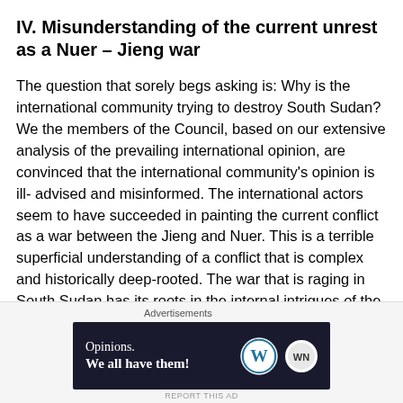IV. Misunderstanding of the current unrest as a Nuer – Jieng war
The question that sorely begs asking is: Why is the international community trying to destroy South Sudan? We the members of the Council, based on our extensive analysis of the prevailing international opinion, are convinced that the international community's opinion is ill- advised and misinformed. The international actors seem to have succeeded in painting the current conflict as a war between the Jieng and Nuer. This is a terrible superficial understanding of a conflict that is complex and historically deep-rooted. The war that is raging in South Sudan has its roots in the internal intrigues of the SPLM party; it has nothing to do with
Advertisements
[Figure (other): Advertisement banner with dark background showing 'Opinions. We all have them!' text with WordPress and WN logos]